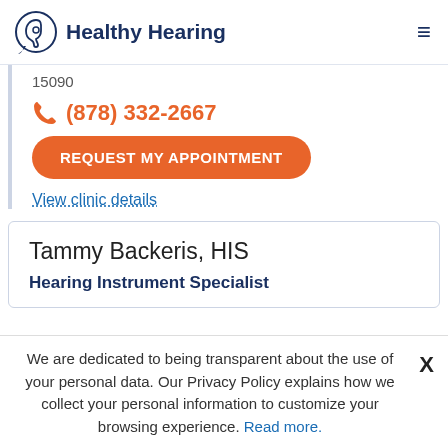Healthy Hearing
15090
(878) 332-2667
REQUEST MY APPOINTMENT
View clinic details
Tammy Backeris, HIS
Hearing Instrument Specialist
We are dedicated to being transparent about the use of your personal data. Our Privacy Policy explains how we collect your personal information to customize your browsing experience. Read more.